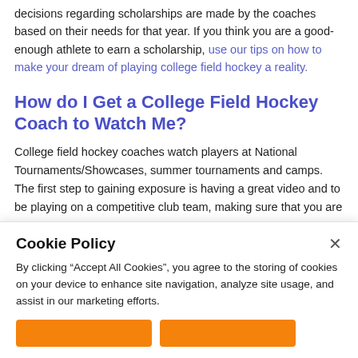decisions regarding scholarships are made by the coaches based on their needs for that year. If you think you are a good-enough athlete to earn a scholarship, use our tips on how to make your dream of playing college field hockey a reality.
How do I Get a College Field Hockey Coach to Watch Me?
College field hockey coaches watch players at National Tournaments/Showcases, summer tournaments and camps. The first step to gaining exposure is having a great video and to be playing on a competitive club team, making sure that you are attending national events as an individual or part of a club that will
Cookie Policy
By clicking “Accept All Cookies”, you agree to the storing of cookies on your device to enhance site navigation, analyze site usage, and assist in our marketing efforts.